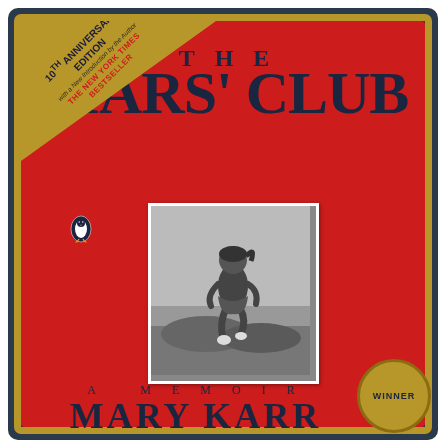[Figure (illustration): Book cover for 'The Liars' Club' by Mary Karr, 10th Anniversary Edition. Red background with dark navy border and gold trim. Top-left corner has a gold triangular banner reading '10th Anniversary Edition, with a New Introduction by the Author, THE NEW YORK TIMES BESTSELLER'. Large bold dark navy title 'THE LIARS' CLUB' at top. Penguin Books logo on left. Black-and-white photograph of a young girl jumping or running. Subtitle 'A MEMOIR', author name 'MARY KARR', and 'AUTHOR OF CHERRY' at the bottom. Gold WINNER medallion badge at bottom right.]